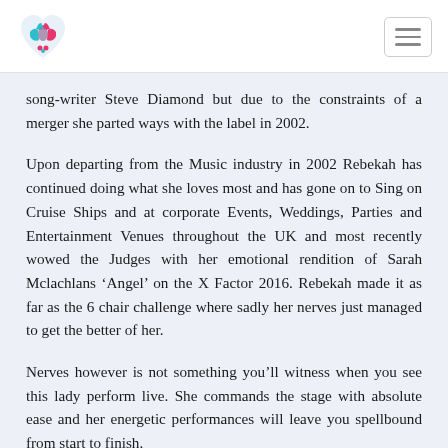[Logo] [Hamburger menu]
song-writer Steve Diamond but due to the constraints of a merger she parted ways with the label in 2002.
Upon departing from the Music industry in 2002 Rebekah has continued doing what she loves most and has gone on to Sing on Cruise Ships and at corporate Events, Weddings, Parties and Entertainment Venues throughout the UK and most recently wowed the Judges with her emotional rendition of Sarah Mclachlans ‘Angel’ on the X Factor 2016. Rebekah made it as far as the 6 chair challenge where sadly her nerves just managed to get the better of her.
Nerves however is not something you’ll witness when you see this lady perform live. She commands the stage with absolute ease and her energetic performances will leave you spellbound from start to finish.